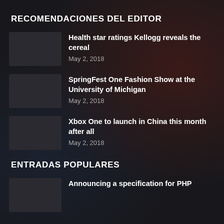RECOMENDACIONES DEL EDITOR
Health star ratings Kellogg reveals the cereal
May 2, 2018
SpringFest One Fashion Show at the University of Michigan
May 2, 2018
Xbox One to launch in China this month after all
May 2, 2018
ENTRADAS POPULARES
Announcing a specification for PHP